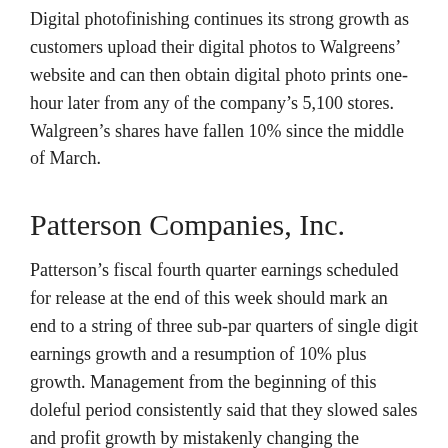Digital photofinishing continues its strong growth as customers upload their digital photos to Walgreens' website and can then obtain digital photo prints one-hour later from any of the company's 5,100 stores. Walgreen's shares have fallen 10% since the middle of March.
Patterson Companies, Inc.
Patterson's fiscal fourth quarter earnings scheduled for release at the end of this week should mark an end to a string of three sub-par quarters of single digit earnings growth and a resumption of 10% plus growth. Management from the beginning of this doleful period consistently said that they slowed sales and profit growth by mistakenly changing the compensation goals for dental